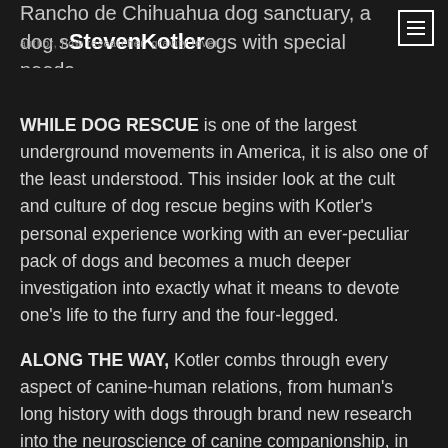StevenKotler
author, flow researcher, gravity lover
Rancho de Chihuahua dog sanctuary, a dog sanctuary for dogs with special needs.
WHILE DOG RESCUE is one of the largest underground movements in America, it is also one of the least understood. This insider look at the cult and culture of dog rescue begins with Kotler's personal experience working with an ever-peculiar pack of dogs and becomes a much deeper investigation into exactly what it means to devote one's life to the furry and the four-legged.
ALONG THE WAY, Kotler combs through every aspect of canine-human relations, from human's long history with dogs through brand new research into the neuroscience of canine companionship, in the end discovering why living in a world made of dog may be the best way to uncover the truth about what it really means to be human.